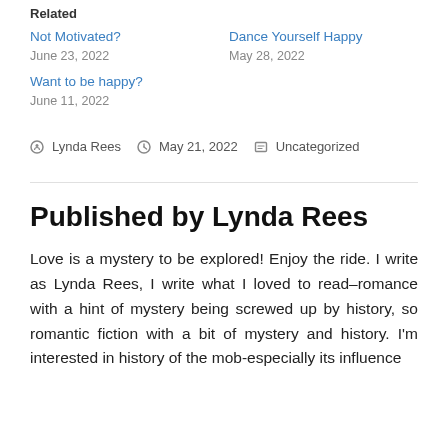Related
Not Motivated?
June 23, 2022
Dance Yourself Happy
May 28, 2022
Want to be happy?
June 11, 2022
Posted by Lynda Rees   May 21, 2022   Uncategorized
Published by Lynda Rees
Love is a mystery to be explored! Enjoy the ride. I write as Lynda Rees, I write what I loved to read–romance with a hint of mystery being screwed up by history, so romantic fiction with a bit of mystery and history. I'm interested in history of the mob-especially its influence